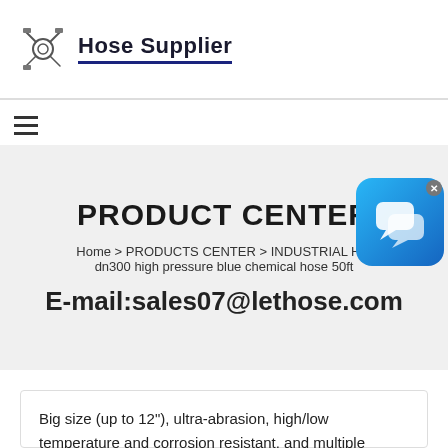[Figure (logo): Hose Supplier logo with mechanical hose fitting icon and bold text 'Hose Supplier' underlined in navy blue]
[Figure (other): Hamburger menu icon (three horizontal lines)]
PRODUCT CENTER
Home > PRODUCTS CENTER > INDUSTRIAL H > dn300 high pressure blue chemical hose 50ft
E-mail:sales07@lethose.com
[Figure (other): Blue chat bubble widget with X close button in top right corner]
Big size (up to 12"), ultra-abrasion, high/low temperature and corrosion resistant, and multiple length choices, Letone industrial hose are ideal for industries like construction,